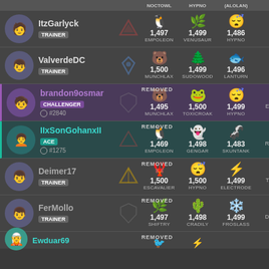NOCTOWL  HYPNO  (ALOLAN)
ItzGarlyck TRAINER - 1,497 EMPOLEON, 1,499 VENUSAUR, 1,486 HYPNO
ValverdeDC TRAINER - 1,500 MUNCHLAX, 1,499 SUDOWOOD, 1,496 LANTURN
brandon9osmar CHALLENGER #2840 REMOVED - 1,495 MUNCHLAX, 1,500 TOXICROAK, 1,499 HYPNO
IIxSonGohanxII ACE #1275 REMOVED - 1,469 EMPOLEON, 1,498 GENGAR, 1,483 SKUNTANK
Deimer17 TRAINER REMOVED - 1,500 ESCAVALIER, 1,500 HYPNO, 1,499 ELECTRODE
FerMollo TRAINER REMOVED - 1,497 SHIFTRY, 1,498 CRADILY, 1,499 FROSLASS
Ewduar69 REMOVED